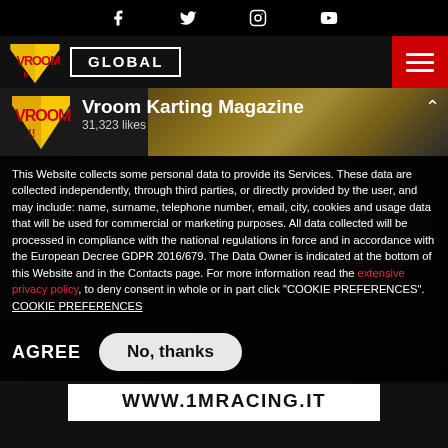Social media icons: Facebook, Twitter, Instagram, YouTube
[Figure (screenshot): Navigation bar with Vroom shield logo, GLOBAL button, and red hamburger menu]
[Figure (screenshot): Vroom Karting Magazine Facebook page banner with logo and 31,323 likes, helmet photo background]
This Website collects some personal data to provide its Services. These data are collected independently, through third parties, or directly provided by the user, and may include: name, surname, telephone number, email, city, cookies and usage data that will be used for commercial or marketing purposes. All data collected will be processed in compliance with the national regulations in force and in accordance with the European Decree GDPR 2016/679. The Data Owner is indicated at the bottom of this Website and in the Contacts page. For more information read the extensive privacy policy, to deny consent in whole or in part click "COOKIE PREFERENCES". COOKIE PREFERENCES
AGREE  No, thanks
WWW.1MRACING.IT